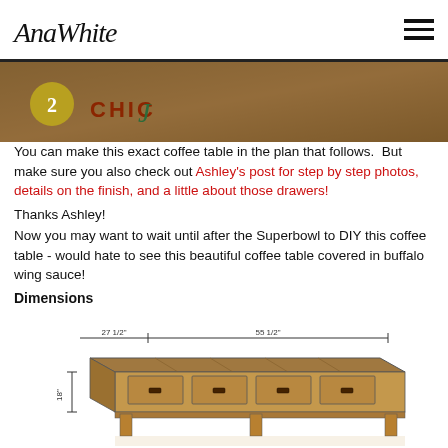AnaWhite
[Figure (photo): Cropped top portion of a coffee table photo with '2CHIC' logo overlay on brown wood background]
You can make this exact coffee table in the plan that follows. But make sure you also check out Ashley's post for step by step photos, details on the finish, and a little about those drawers!
Thanks Ashley!
Now you may want to wait until after the Superbowl to DIY this coffee table - would hate to see this beautiful coffee table covered in buffalo wing sauce!
Dimensions
[Figure (engineering-diagram): 3D engineering diagram of a wooden coffee table with dimensions: 27 1/2" width, 55 1/2" length, 18" height]